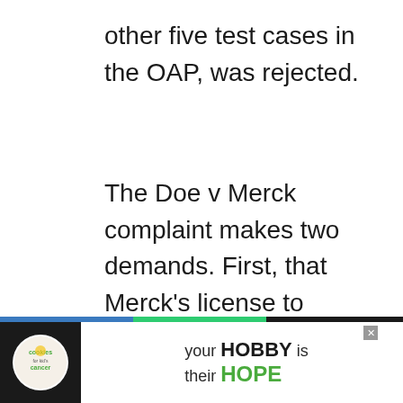other five test cases in the OAP, was rejected.
The Doe v Merck complaint makes two demands. First, that Merck's license to produce the measles, mumps, rubella vaccine (M-M-R®II ) be revoked.
Second, it asks for damages for Colin's alleged vaccine injuries. The complaint is problematic from three aspects:
[Figure (screenshot): Advertisement banner at the bottom: 'cookies for kid's cancer' logo on dark background, with text 'your HOBBY is their HOPE' on white background with green HOPE text. Close button visible.]